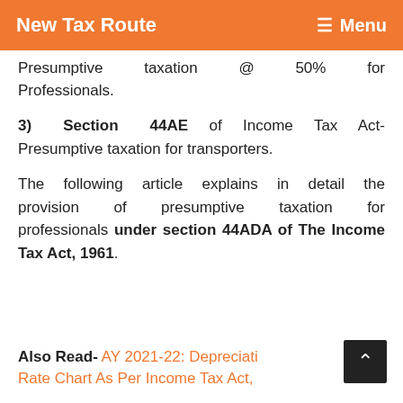New Tax Route   ☰ Menu
Presumptive taxation @ 50% for Professionals.
3) Section 44AE of Income Tax Act- Presumptive taxation for transporters.
The following article explains in detail the provision of presumptive taxation for professionals under section 44ADA of The Income Tax Act, 1961.
Also Read- AY 2021-22: Depreciation Rate Chart As Per Income Tax Act,